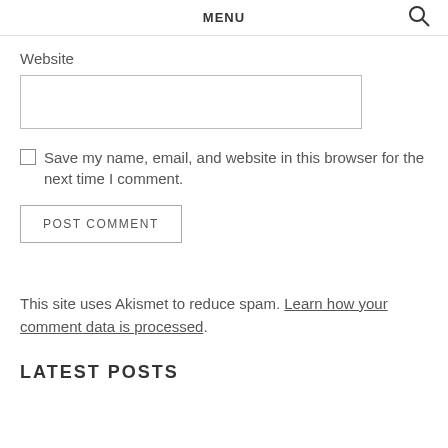MENU
Website
Save my name, email, and website in this browser for the next time I comment.
POST COMMENT
This site uses Akismet to reduce spam. Learn how your comment data is processed.
LATEST POSTS